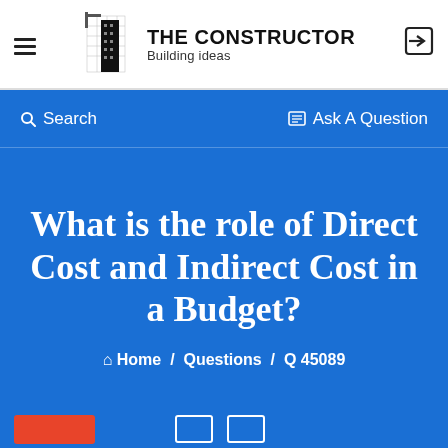THE CONSTRUCTOR — Building ideas
Search    Ask A Question
What is the role of Direct Cost and Indirect Cost in a Budget?
Home / Questions / Q 45089